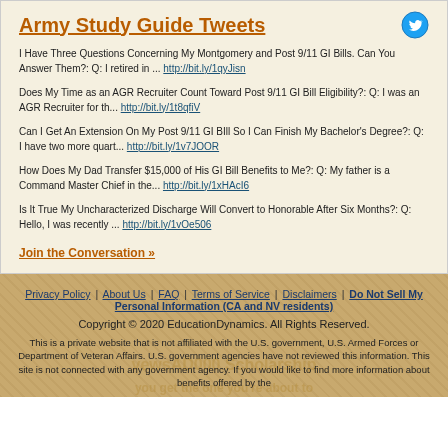Army Study Guide Tweets
I Have Three Questions Concerning My Montgomery and Post 9/11 GI Bills. Can You Answer Them?: Q: I retired in ... http://bit.ly/1qyJisn
Does My Time as an AGR Recruiter Count Toward Post 9/11 GI Bill Eligibility?: Q: I was an AGR Recruiter for th... http://bit.ly/1t8qfiV
Can I Get An Extension On My Post 9/11 GI BIll So I Can Finish My Bachelor's Degree?: Q: I have two more quart... http://bit.ly/1v7JOOR
How Does My Dad Transfer $15,000 of His GI Bill Benefits to Me?: Q: My father is a Command Master Chief in the... http://bit.ly/1xHAcI6
Is It True My Uncharacterized Discharge Will Convert to Honorable After Six Months?: Q: Hello, I was recently ... http://bit.ly/1vOe506
Join the Conversation »
Privacy Policy | About Us | FAQ | Terms of Service | Disclaimers | Do Not Sell My Personal Information (CA and NV residents)
Copyright © 2020 EducationDynamics. All Rights Reserved.
This is a private website that is not affiliated with the U.S. government, U.S. Armed Forces or Department of Veteran Affairs. U.S. government agencies have not reviewed this information. This site is not connected with any government agency. If you would like to find more information about benefits offered by the